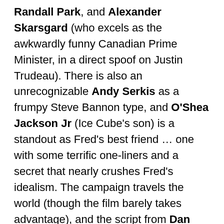Randall Park, and Alexander Skarsgard (who excels as the awkwardly funny Canadian Prime Minister, in a direct spoof on Justin Trudeau). There is also an unrecognizable Andy Serkis as a frumpy Steve Bannon type, and O'Shea Jackson Jr (Ice Cube's son) is a standout as Fred's best friend … one with some terrific one-liners and a secret that nearly crushes Fred's idealism. The campaign travels the world (though the film barely takes advantage), and the script from Dan Sterling and Liz Hannah serves up a clever Jennifer Aniston joke, a sight gag to rival THERE'S SOMETHING ABOUT MARY, and enough bawdy sex comedy that the political satire sometimes fades (but never for long). It's meant to be a crowd-pleaser and it seems to succeed on that; although its greatest strength may be in showcasing another side from the immensely talented Charlize Theron.